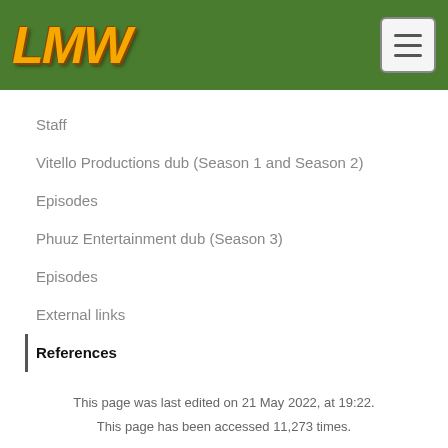LMW
Staff
Vitello Productions dub (Season 1 and Season 2)
Episodes
Phuuz Entertainment dub (Season 3)
Episodes
External links
References
This page was last edited on 21 May 2022, at 19:22.
This page has been accessed 11,273 times.